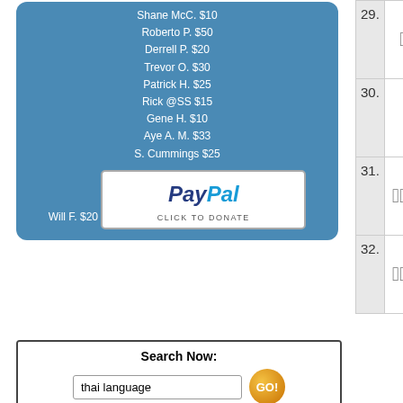Shane McC. $10
Roberto P. $50
Derrell P. $20
Trevor O. $30
Patrick H. $25
Rick @SS $15
Gene H. $10
Aye A. M. $33
S. Cummings $25
Will F. $20
[Figure (logo): PayPal Click to Donate button]
[Figure (screenshot): Search widget: 'Search Now:' with text input 'thai language' and GO button, Amazon.com search new and used]
Get e-mail
Sign-up to join our mailing list. You'll receive email notification when this site is updated. Your privacy is guaranteed; this list is not sold, shared, or used for any other purpose. Click here for more information.

To unsubscribe, click here.
| # | Thai | Romanization |
| --- | --- | --- |
| 29. | □□□□□□□□ | khohngM c... |
| 30. | □□□□□□□ | khohngM... |
| 31. | □□□□□□□□□□ | khohngM jaL m... |
| 32. | □□□□□□□□□□ | khohngM jaL c... |